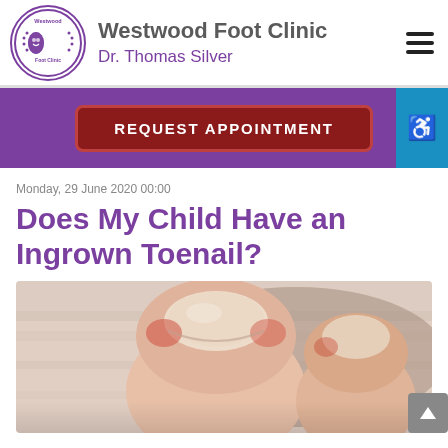Westwood Foot Clinic — Dr. Thomas Silver
REQUEST APPOINTMENT
Monday, 29 June 2020 00:00
Does My Child Have an Ingrown Toenail?
[Figure (photo): Close-up photograph of a human toe with an ingrown toenail, showing redness and inflammation on the sides of the nail.]